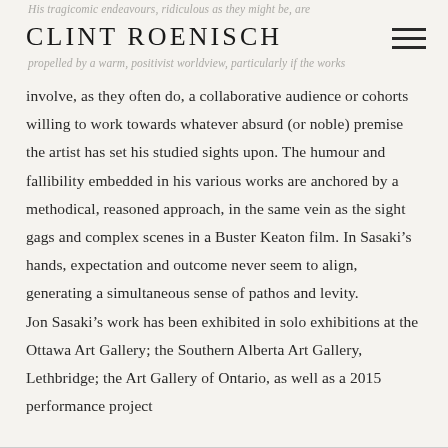His tragicomic endeavours, ridiculous as they might be, are CLINT ROENISCH propelled by a warm, positivist worldview, particularly if the works
involve, as they often do, a collaborative audience or cohorts willing to work towards whatever absurd (or noble) premise the artist has set his studied sights upon. The humour and fallibility embedded in his various works are anchored by a methodical, reasoned approach, in the same vein as the sight gags and complex scenes in a Buster Keaton film. In Sasaki’s hands, expectation and outcome never seem to align, generating a simultaneous sense of pathos and levity. Jon Sasaki’s work has been exhibited in solo exhibitions at the Ottawa Art Gallery; the Southern Alberta Art Gallery, Lethbridge; the Art Gallery of Ontario, as well as a 2015 performance project